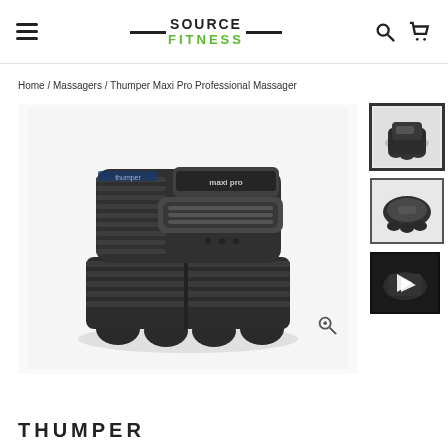SOURCE FITNESS navigation header with hamburger menu, logo, search and cart icons
Home / Massagers / Thumper Maxi Pro Professional Massager
[Figure (photo): Thumper Maxi Pro Professional Massager device — dark gray/black handheld percussion massager with ribbed housing and multiple massage nodes on the bottom, viewed from a three-quarter angle]
[Figure (photo): Thumbnail 1: Thumper Maxi Pro front/top view (selected/active)]
[Figure (photo): Thumbnail 2: Thumper Maxi Pro top-down view]
[Figure (photo): Thumbnail 3: Thumper Maxi Pro video thumbnail with play button]
THUMPER